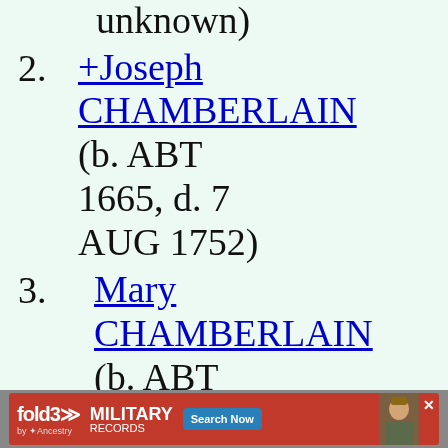unknown)
2. +Joseph CHAMBERLAIN (b. ABT 1665, d. 7 AUG 1752)
3. Mary CHAMBERLAIN (b. ABT
[Figure (infographic): fold3 by Ancestry advertisement banner — MILITARY RECORDS, Search Now button, soldier photo]